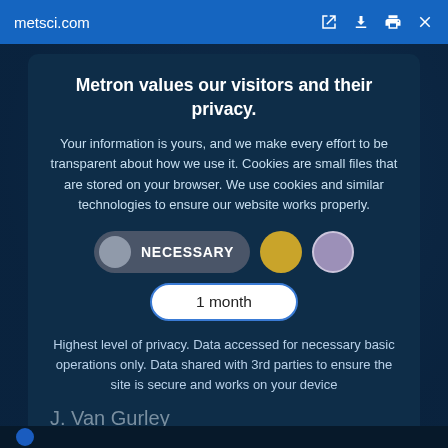metsci.com
Metron values our visitors and their privacy.
Your information is yours, and we make every effort to be transparent about how we use it. Cookies are small files that are stored on your browser. We use cookies and similar technologies to ensure our website works properly.
[Figure (screenshot): Cookie consent UI with NECESSARY toggle pill, gold circle, lavender circle, and 1 month duration pill]
Highest level of privacy. Data accessed for necessary basic operations only. Data shared with 3rd parties to ensure the site is secure and works on your device
J. Van Gurley
Presi...
Save my preferences